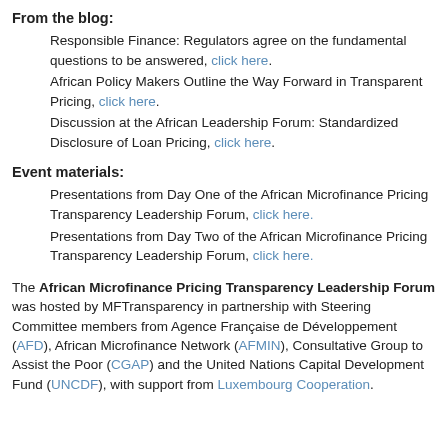From the blog:
Responsible Finance: Regulators agree on the fundamental questions to be answered, click here.
African Policy Makers Outline the Way Forward in Transparent Pricing, click here.
Discussion at the African Leadership Forum: Standardized Disclosure of Loan Pricing, click here.
Event materials:
Presentations from Day One of the African Microfinance Pricing Transparency Leadership Forum, click here.
Presentations from Day Two of the African Microfinance Pricing Transparency Leadership Forum, click here.
The African Microfinance Pricing Transparency Leadership Forum was hosted by MFTransparency in partnership with Steering Committee members from Agence Française de Développement (AFD), African Microfinance Network (AFMIN), Consultative Group to Assist the Poor (CGAP) and the United Nations Capital Development Fund (UNCDF), with support from Luxembourg Cooperation.